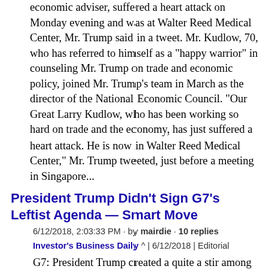economic adviser, suffered a heart attack on Monday evening and was at Walter Reed Medical Center, Mr. Trump said in a tweet. Mr. Kudlow, 70, who has referred to himself as a "happy warrior" in counseling Mr. Trump on trade and economic policy, joined Mr. Trump's team in March as the director of the National Economic Council. "Our Great Larry Kudlow, who has been working so hard on trade and the economy, has just suffered a heart attack. He is now in Walter Reed Medical Center," Mr. Trump tweeted, just before a meeting in Singapore...
President Trump Didn't Sign G7's Leftist Agenda — Smart Move
6/12/2018, 2:03:33 PM · by mairdie · 10 replies
Investor's Business Daily ^ | 6/12/2018 | Editorial
G7: President Trump created a quite a stir among the other Western leaders by refusing to sign the "communique" that capped the G7 summit. But he was right to do so. This is once again being styled